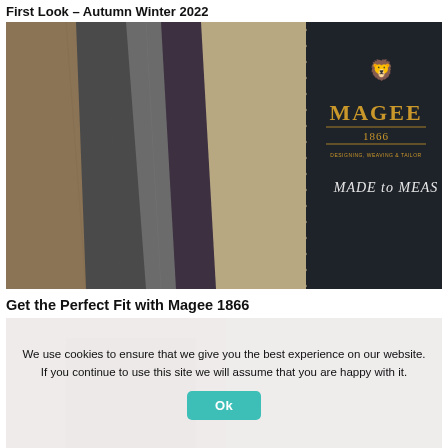First Look – Autumn Winter 2022
[Figure (photo): Close-up photograph of woven fabric swatches in brown, grey, dark charcoal, purple, and tan/beige tweed patterns, laid against a dark navy/black leather-look folder embossed in gold with 'MAGEE 1866 – DESIGNING, WEAVING & TAILORING – MADE to MEASURE']
Get the Perfect Fit with Magee 1866
[Figure (photo): Partially visible background photo of people, overlaid with a cookie consent banner]
We use cookies to ensure that we give you the best experience on our website. If you continue to use this site we will assume that you are happy with it.